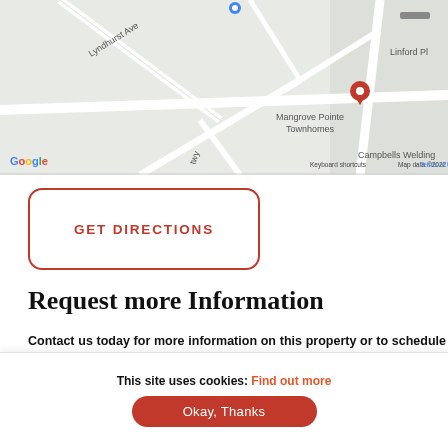[Figure (map): Google Maps screenshot showing Mangrove Pointe Townhomes location with surrounding streets including Lyndhurst Ave, Linford Pl, and Campbells Welding. Blue location pin visible. Google logo and map data attribution shown.]
GET DIRECTIONS
Request more Information
Contact us today for more information on this property or to schedule a viewing.
Sophie Miles
This site uses cookies: Find out more
Okay, Thanks